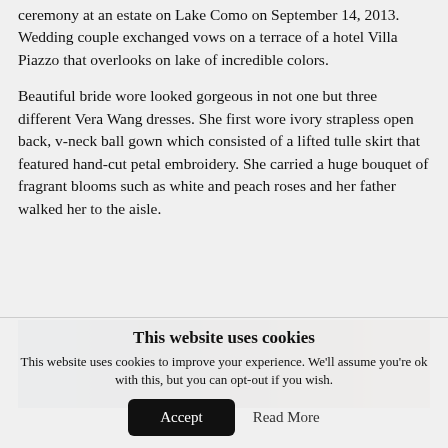ceremony at an estate on Lake Como on September 14, 2013. Wedding couple exchanged vows on a terrace of a hotel Villa Piazzo that overlooks on lake of incredible colors.
Beautiful bride wore looked gorgeous in not one but three different Vera Wang dresses. She first wore ivory strapless open back, v-neck ball gown which consisted of a lifted tulle skirt that featured hand-cut petal embroidery. She carried a huge bouquet of fragrant blooms such as white and peach roses and her father walked her to the aisle.
[Figure (photo): Partial view of a photo showing what appears to be a wedding or event scene with blue, brown, and warm tones]
This website uses cookies
This website uses cookies to improve your experience. We'll assume you're ok with this, but you can opt-out if you wish.